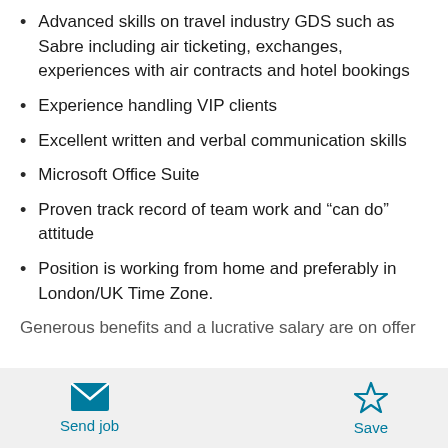Advanced skills on travel industry GDS such as Sabre including air ticketing, exchanges, experiences with air contracts and hotel bookings
Experience handling VIP clients
Excellent written and verbal communication skills
Microsoft Office Suite
Proven track record of team work and “can do” attitude
Position is working from home and preferably in London/UK Time Zone.
Generous benefits and a lucrative salary are on offer
Send job   Save